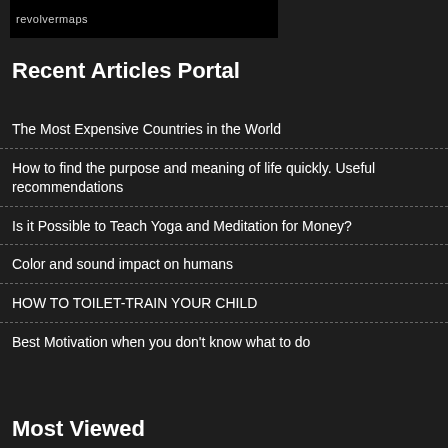[Figure (other): revolvermaps widget - dark background map with text 'revolvermaps']
Recent Articles Portal
The Most Expensive Countries in the World
How to find the purpose and meaning of life quickly. Useful recommendations
Is it Possible to Teach Yoga and Meditation for Money?
Color and sound impact on humans
HOW TO TOILET-TRAIN YOUR CHILD
Best Motivation when you don't know what to do
Most Viewed